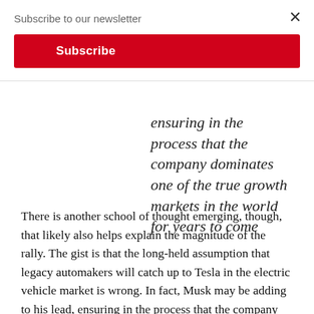Subscribe to our newsletter
Subscribe
ensuring in the process that the company dominates one of the true growth markets in the world for years to come
There is another school of thought emerging, though, that likely also helps explain the magnitude of the rally. The gist is that the long-held assumption that legacy automakers will catch up to Tesla in the electric vehicle market is wrong. In fact, Musk may be adding to his lead, ensuring in the process that the company dominates one of the true growth markets in the world for years to